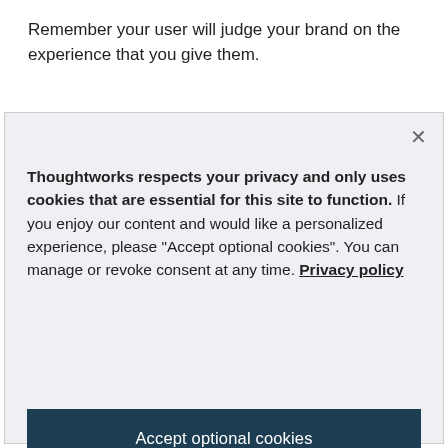Remember your user will judge your brand on the experience that you give them.
[Figure (screenshot): Cookie consent modal dialog with close button (×), privacy notice text, 'Accept optional cookies' button, and 'Manage preferences' button on a light gray background.]